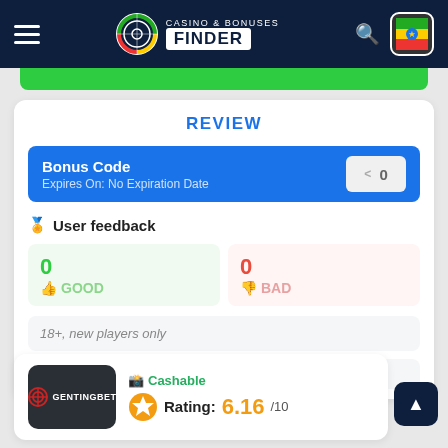CASINO & BONUSES FINDER
REVIEW
Bonus Code
Expires On: No Expiration Date
User feedback
0 GOOD
0 BAD
18+, new players only
Cashable
Rating: 6.16/10